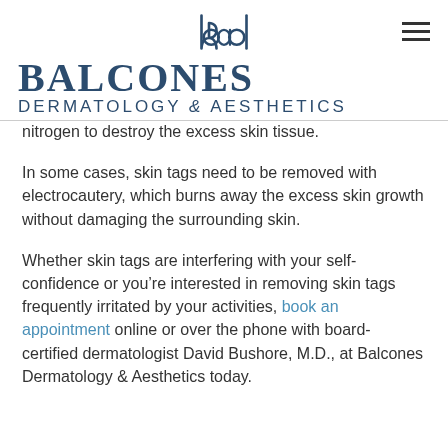Balcones Dermatology & Aesthetics
nitrogen to destroy the excess skin tissue.
In some cases, skin tags need to be removed with electrocautery, which burns away the excess skin growth without damaging the surrounding skin.
Whether skin tags are interfering with your self-confidence or you’re interested in removing skin tags frequently irritated by your activities, book an appointment online or over the phone with board-certified dermatologist David Bushore, M.D., at Balcones Dermatology & Aesthetics today.